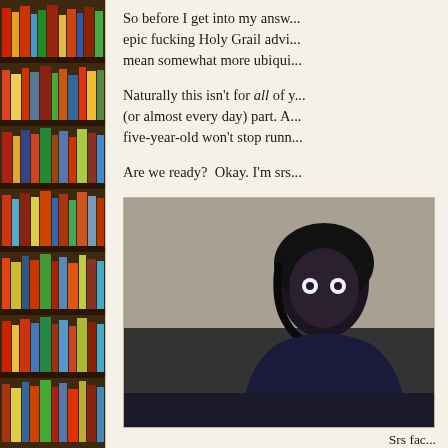So before I get into my answ... epic fucking Holy Grail advi... mean somewhat more ubiqui...
Naturally this isn't for all of y... (or almost every day) part. A... five-year-old won't stop runn...
Are we ready?  Okay. I'm srs...
[Figure (photo): A person with dark hair looking at the camera with wide eyes, photographed in low light against a light wall background. Webcam-style photo.]
Srs fac...